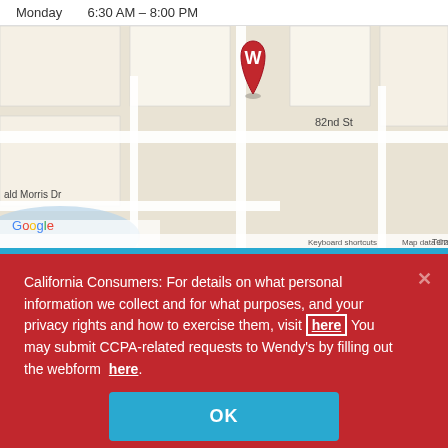Monday    6:30 AM – 8:00 PM
[Figure (map): Google Maps view showing Wendy's location marked with a red W pin at the intersection near 82nd St and Center Run Dr, with street labels for Knue Rd, Castleway Dr, and ald Morris Dr visible. Google logo and map attribution at bottom.]
California Consumers: For details on what personal information we collect and for what purposes, and your privacy rights and how to exercise them, visit here You may submit CCPA-related requests to Wendy's by filling out the webform here.
OK